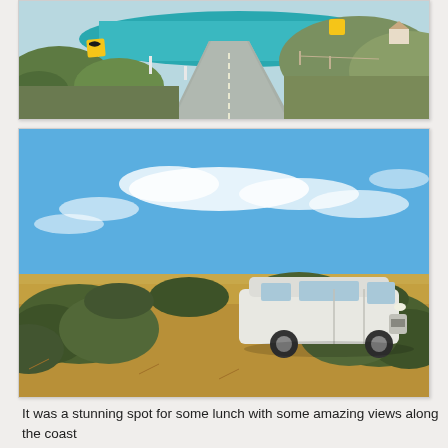[Figure (photo): A winding coastal road curving toward the ocean, flanked by green scrubby bushes. The turquoise sea is visible in the background under a bright sky. Yellow road signs visible on the left.]
[Figure (photo): A white minivan/campervan parked on a dry grassy and shrubby landscape under a bright blue sky with scattered white clouds. Australian coastal scrubland setting.]
It was a stunning spot for some lunch with some amazing views along the coast